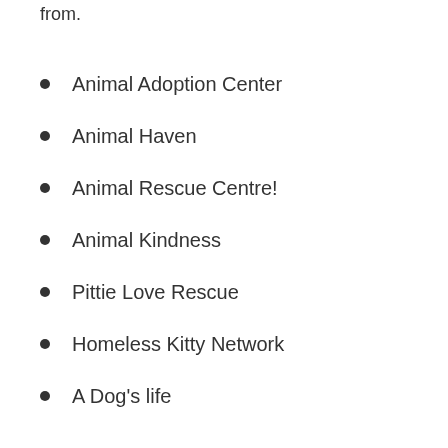from.
Animal Adoption Center
Animal Haven
Animal Rescue Centre!
Animal Kindness
Pittie Love Rescue
Homeless Kitty Network
A Dog's life…